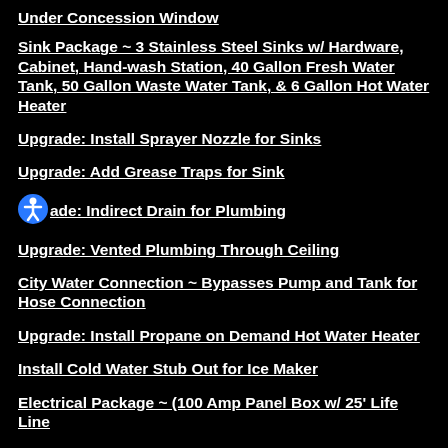Under Concession Window
Sink Package ~ 3 Stainless Steel Sinks w/ Hardware, Cabinet, Hand-wash Station, 40 Gallon Fresh Water Tank, 50 Gallon Waste Water Tank, & 6 Gallon Hot Water Heater
Upgrade: Install Sprayer Nozzle for Sinks
Upgrade: Add Grease Traps for Sink
Upgrade: Indirect Drain for Plumbing
Upgrade: Vented Plumbing Through Ceiling
City Water Connection ~ Bypasses Pump and Tank for Hose Connection
Upgrade: Install Propane on Demand Hot Water Heater
Install Cold Water Stub Out for Ice Maker
Electrical Package ~ (100 Amp Panel Box w/ 25' Life Line